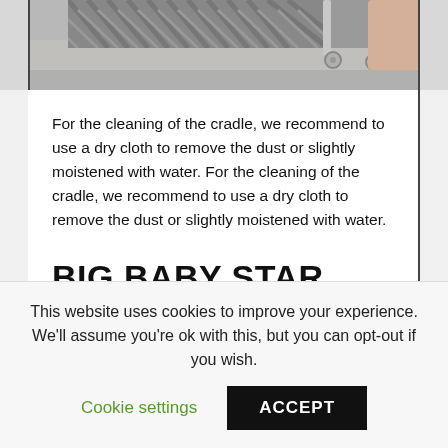[Figure (photo): Partial photo of a baby cradle/cot showing the base/wheels area on a flat surface, cropped at the top of the page.]
For the cleaning of the cradle, we recommend to use a dry cloth to remove the dust or slightly moistened with water. For the cleaning of the cradle, we recommend to use a dry cloth to remove the dust or slightly moistened with water.
BIG BABY STAR COT
Mobile side that facilitates access to the interior of
This website uses cookies to improve your experience. We'll assume you're ok with this, but you can opt-out if you wish.
Cookie settings
ACCEPT